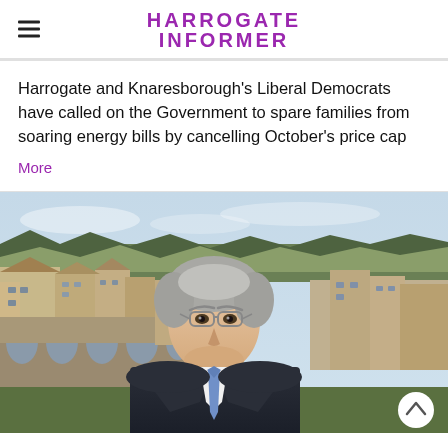HARROGATE INFORMER
Harrogate and Knaresborough’s Liberal Democrats have called on the Government to spare families from soaring energy bills by cancelling October’s price cap
More
[Figure (photo): Photograph of a middle-aged man with grey hair and glasses, smiling, wearing a dark suit and light blue tie, standing outdoors with a Yorkshire townscape and viaduct in the background under a pale blue sky.]